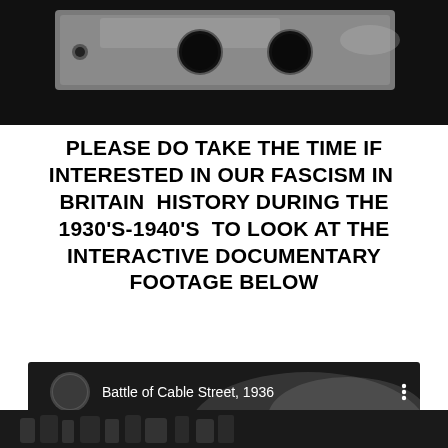[Figure (photo): Close-up photograph of film strip or camera mechanism with two circular holes/perforations visible against a metallic surface, black and white/dark tones]
PLEASE DO TAKE THE TIME IF INTERESTED IN OUR FASCISM IN BRITAIN HISTORY DURING THE 1930'S-1940'S TO LOOK AT THE INTERACTIVE DOCUMENTARY FOOTAGE BELOW
[Figure (screenshot): Screenshot of a video embed showing 'Battle of Cable Street, 1936' with a circular avatar/thumbnail on the left, the video title text in white on dark background, three-dot menu icon on the right, and a blurred crowd scene in the background]
Privacy & Cookies: This site uses cookies. By continuing to use this website, you agree to their use.
To find out more, including how to control cookies, see here: Cookie Policy
[Figure (photo): Partial bottom strip showing a black and white photograph of a crowd scene]